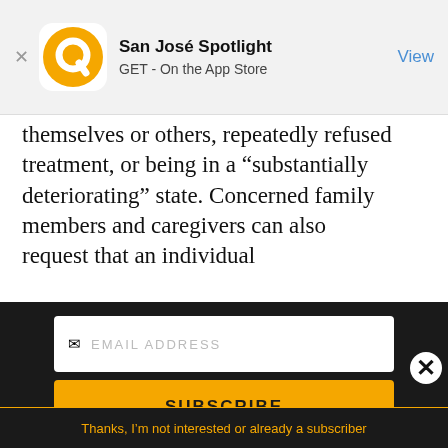[Figure (screenshot): App Store banner for San José Spotlight app with orange circular logo, app name, GET On the App Store text, and blue View button]
themselves or others, repeatedly refused treatment, or being in a “substantially deteriorating” state. Concerned family members and caregivers can also request that an individual
[Figure (advertisement): San Jose Spotlight advertisement with logo, tagline 'Where San Jose locals start the day.' and website sanjosespotlight.com, with tablet device image on right]
[Figure (screenshot): Newsletter signup section with dark background, email address input field, Subscribe button in gold/yellow, and 'Thanks, I'm not interested or already a subscriber' link at bottom]